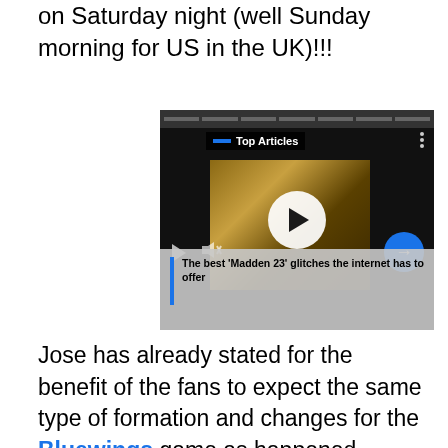on Saturday night (well Sunday morning for US in the UK)!!!
[Figure (screenshot): Video player showing a football game scene with 'Top Articles' badge, play button overlay, mute/play controls, arrow navigation button, and caption 'The best ‘Madden 23’ glitches the internet has to offer']
Jose has already stated for the benefit of the fans to expect the same type of formation and changes for the Bluewings game as happened against Club America. I watched an interview with Jose earlier this evening